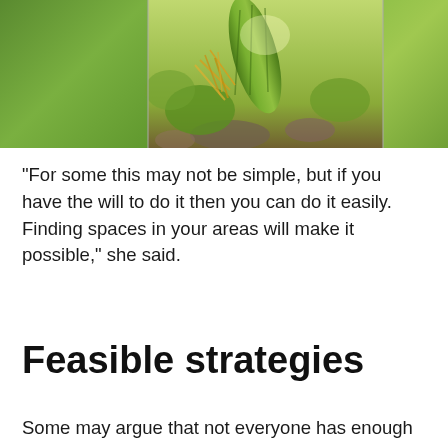[Figure (photo): Photograph of a garden/vegetable patch showing green plants, a cucumber or similar vegetable, yellow strands, and rocky ground with lush green foliage]
“For some this may not be simple, but if you have the will to do it then you can do it easily. Finding spaces in your areas will make it possible,” she said.
Feasible strategies
Some may argue that not everyone has enough